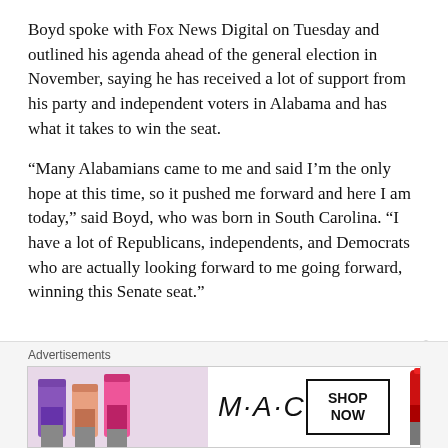Boyd spoke with Fox News Digital on Tuesday and outlined his agenda ahead of the general election in November, saying he has received a lot of support from his party and independent voters in Alabama and has what it takes to win the seat.
“Many Alabamians came to me and said I’m the only hope at this time, so it pushed me forward and here I am today,” said Boyd, who was born in South Carolina. “I have a lot of Republicans, independents, and Democrats who are actually looking forward to me going forward, winning this Senate seat.”
Advertisements
[Figure (other): MAC Cosmetics advertisement banner featuring colorful lipsticks on the left, the MAC logo in italic script in the center, a SHOP NOW button in a black border box, and a red lipstick on the right.]